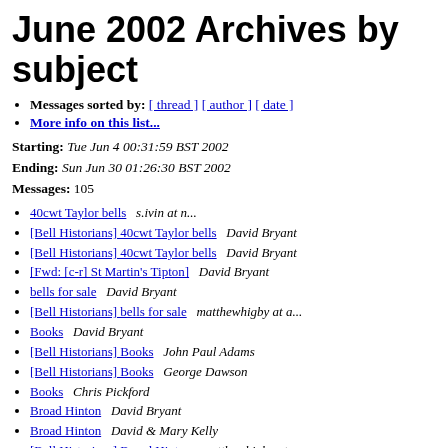June 2002 Archives by subject
Messages sorted by: [ thread ] [ author ] [ date ]
More info on this list...
Starting: Tue Jun 4 00:31:59 BST 2002
Ending: Sun Jun 30 01:26:30 BST 2002
Messages: 105
40cwt Taylor bells   s.ivin at n...
[Bell Historians] 40cwt Taylor bells   David Bryant
[Bell Historians] 40cwt Taylor bells   David Bryant
[Fwd: [c-r] St Martin's Tipton]   David Bryant
bells for sale   David Bryant
[Bell Historians] bells for sale   matthewhigby at a...
Books   David Bryant
[Bell Historians] Books   John Paul Adams
[Bell Historians] Books   George Dawson
Books   Chris Pickford
Broad Hinton   David Bryant
Broad Hinton   David & Mary Kelly
[Bell Historians] Broad Hinton   matthewhigby at a...
[Bell Historians] Broad Hinton   Nick Bowden
[Bell Historians] Broad Hinton   Ken Webb